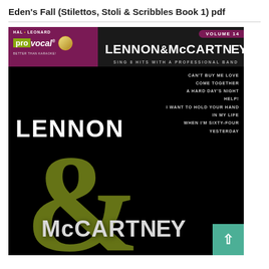Eden's Fall (Stilettos, Stoli & Scribbles Book 1) pdf
[Figure (photo): Cover image of Hal Leonard Pro Vocal Volume 14 - Lennon & McCartney karaoke book/CD. Black background with 'LENNON & McCARTNEY' in large white and silver text. Green ampersand in the middle. Song list on the right side: Can't Buy Me Love, Come Together, A Hard Day's Night, Help!, I Want To Hold Your Hand, In My Life, When I'm Sixty-Four, Yesterday.]